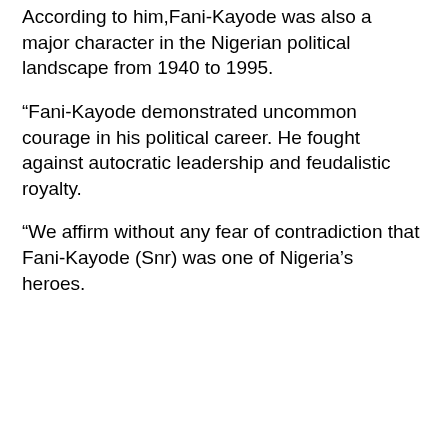According to him,Fani-Kayode was also a major character in the Nigerian political landscape from 1940 to 1995.
“Fani-Kayode demonstrated uncommon courage in his political career. He fought against autocratic leadership and feudalistic royalty.
“We affirm without any fear of contradiction that Fani-Kayode (Snr) was one of Nigeria’s heroes.